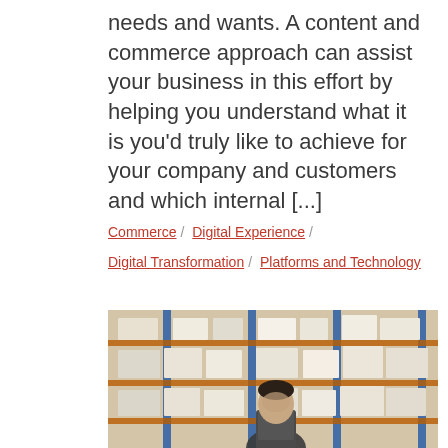needs and wants. A content and commerce approach can assist your business in this effort by helping you understand what it is you'd truly like to achieve for your company and customers and which internal [...]
Commerce / Digital Experience / Digital Transformation / Platforms and Technology
[Figure (photo): A man working in a warehouse with tall shelving racks stocked with boxes and packages, blue vertical supports visible.]